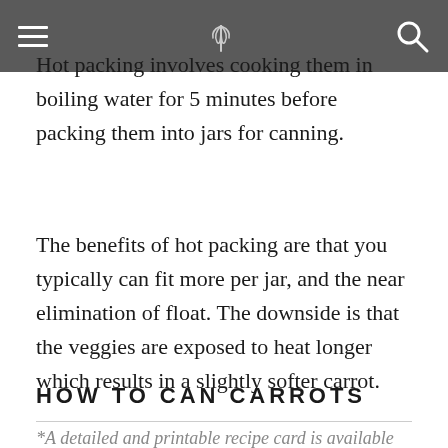[hamburger menu] [whisk logo] [search icon]
Hot packing involves cooking them in boiling water for 5 minutes before packing them into jars for canning.
The benefits of hot packing are that you typically can fit more per jar, and the near elimination of float. The downside is that the veggies are exposed to heat longer which results in a slightly softer carrot.
HOW TO CAN CARROTS
*A detailed and printable recipe card is available